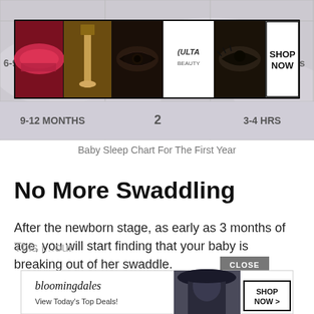[Figure (screenshot): Baby sleep chart table row showing 9-12 months, 2 naps, 3-4 hrs, with Ulta Beauty advertisement banner overlaid]
Baby Sleep Chart For The First Year
No More Swaddling
After the newborn stage, as early as 3 months of age, you will start finding that your baby is breaking out of her swaddle.
This i... our
[Figure (screenshot): Bloomingdale's advertisement banner with 'View Today's Top Deals!' text, woman in hat image, and SHOP NOW button. Close button visible.]